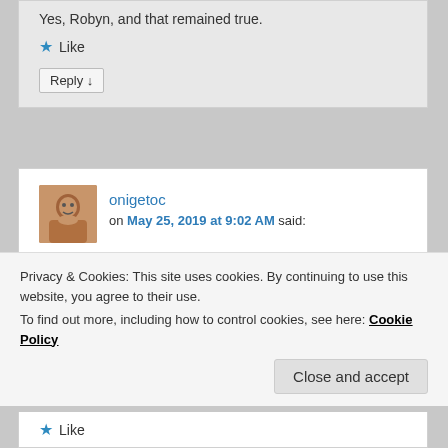Yes, Robyn, and that remained true.
Like
Reply ↓
onigetoc
on May 25, 2019 at 9:02 AM said:
What i deiscover its we break our gut with antinutrient oxolate (veggies) this lead to foods intolerances like histamine. All of this lead to poor enzymes productions. For
Privacy & Cookies: This site uses cookies. By continuing to use this website, you agree to their use.
To find out more, including how to control cookies, see here: Cookie Policy
Close and accept
Like